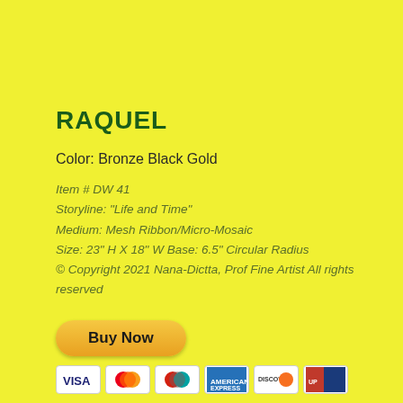RAQUEL
Color: Bronze Black Gold
Item # DW 41
Storyline: "Life and Time"
Medium: Mesh Ribbon/Micro-Mosaic
Size: 23" H X 18" W Base: 6.5" Circular Radius
© Copyright 2021 Nana-Dictta, Prof Fine Artist All rights reserved
[Figure (other): Buy Now button with payment card icons (Visa, Mastercard, Discover, Amex, etc.)]